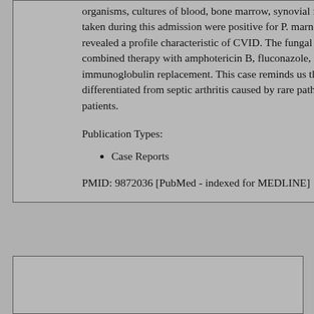organisms, cultures of blood, bone marrow, synovial fluid, and lymph node biopsy samples taken during this admission were positive for P. marneffei. Further immunologic studies revealed a profile characteristic of CVID. The fungal infection was finally eradicated by combined therapy with amphotericin B, fluconazole, itraconazole, and regular immunoglobulin replacement. This case reminds us that JRA or JRA-like arthritis should be differentiated from septic arthritis caused by rare pathogens in immunocompromised patients.
Publication Types:
Case Reports
PMID: 9872036 [PubMed - indexed for MEDLINE]